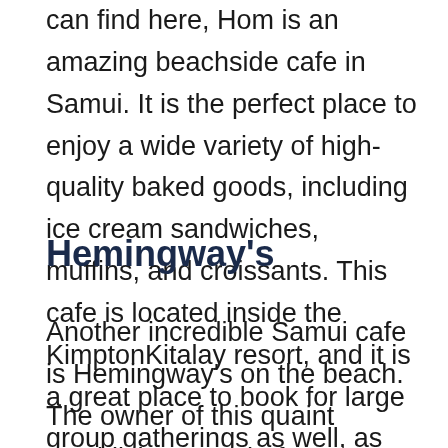can find here, Hom is an amazing beachside cafe in Samui. It is the perfect place to enjoy a wide variety of high-quality baked goods, including ice cream sandwiches, muffins, and croissants. This cafe is located inside the KimptonKitalay resort, and it is a great place to book for large group gatherings as well, as birthday parties or small anniversary celebrations.
Hemingway's
Another incredible Samui cafe is Hemingway's on the beach. The owner of this quaint establishment, Chef Jaa, specializes in traditional Thai dishes and her menu offers a variety of homestyle dishes that are definitely worth stopping by to sample. Located on the Thongkrut